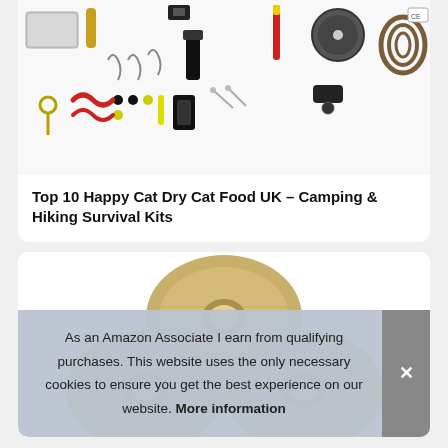[Figure (photo): Photo of survival kit items laid out including tins, hooks, rope, whistle, matches, compass, and other camping/hiking tools on white background]
Top 10 Happy Cat Dry Cat Food UK – Camping & Hiking Survival Kits
[Figure (photo): Photo of stacked rolls of tan/khaki cohesive bandage wrap arranged in a pyramid formation on white background]
As an Amazon Associate I earn from qualifying purchases. This website uses the only necessary cookies to ensure you get the best experience on our website. More information